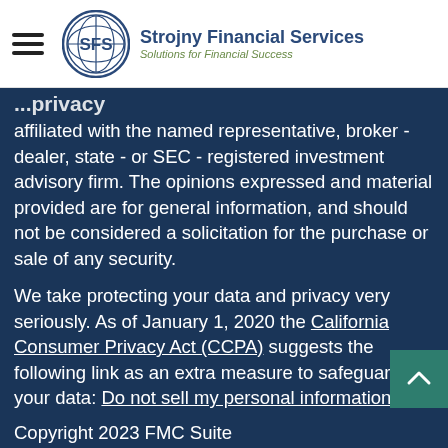[Figure (logo): Strojny Financial Services logo with SFS circular emblem and text 'Solutions for Financial Success']
affiliated with the named representative, broker - dealer, state - or SEC - registered investment advisory firm. The opinions expressed and material provided are for general information, and should not be considered a solicitation for the purchase or sale of any security.
We take protecting your data and privacy very seriously. As of January 1, 2020 the California Consumer Privacy Act (CCPA) suggests the following link as an extra measure to safeguard your data: Do not sell my personal information.
Copyright 2023 FMC Suite